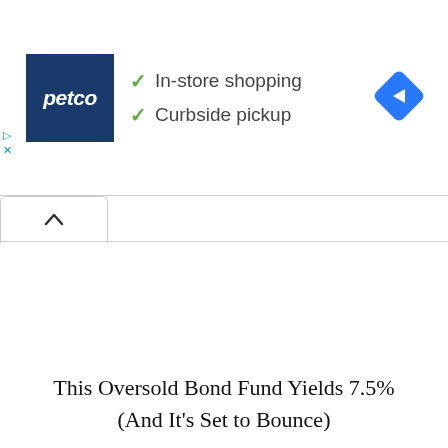[Figure (screenshot): Petco advertisement banner with logo, checkmarks for 'In-store shopping' and 'Curbside pickup', and a blue navigation/directions diamond icon on the right]
[Figure (screenshot): Browser UI element: a collapsed tab with an upward chevron (^) arrow, indicating a collapsible ad panel]
This Oversold Bond Fund Yields 7.5% (And It’s Set to Bounce)